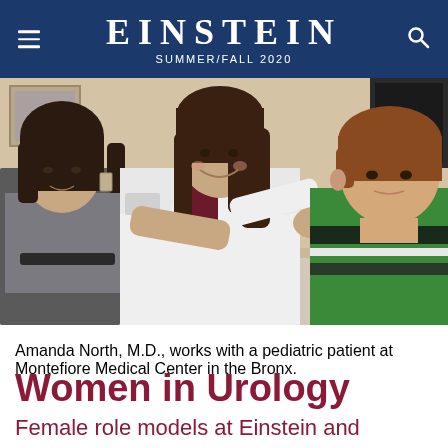EINSTEIN SUMMER/FALL 2020
[Figure (photo): A female doctor in a white coat smiles and works with a young boy in a green striped shirt, while a woman (presumably the mother) sits in the background watching. The setting appears to be a medical exam room.]
Amanda North, M.D., works with a pediatric patient at Montefiore Medical Center in the Bronx.
Women in Urology
Female role models at Einstein and